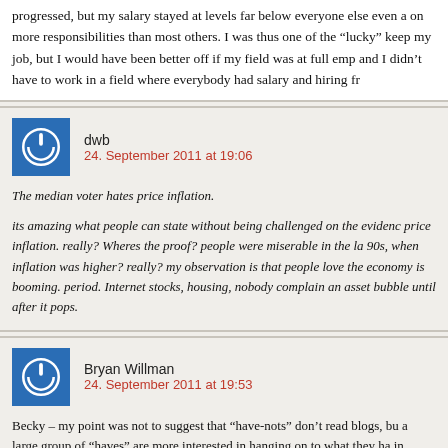progressed, but my salary stayed at levels far below everyone else even a on more responsibilities than most others. I was thus one of the "lucky" keep my job, but I would have been better off if my field was at full emp and I didn't have to work in a field where everybody had salary and hiring fr
dwb
24. September 2011 at 19:06
The median voter hates price inflation.

its amazing what people can state without being challenged on the evidenc price inflation. really? Wheres the proof? people were miserable in the la 90s, when inflation was higher? really? my observation is that people love the economy is booming. period. Internet stocks, housing, nobody complain an asset bubble until after it pops.
Bryan Willman
24. September 2011 at 19:53
Becky – my point was not to suggest that "have-nots" don't read blogs, bu a large group of "haves" are more interested in hanging on to what they ha in general economic improvement. (Which is a natural human thing.)